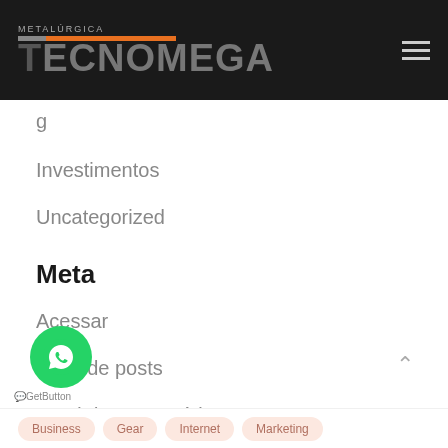METALÚRGICA TECNOMEGA
Investimentos
Uncategorized
Meta
Acessar
Feed de posts
Feed de comentários
WordPress.org
[Figure (logo): WhatsApp green circular button with phone icon]
GetButton
Business  Gear  Internet  Marketing